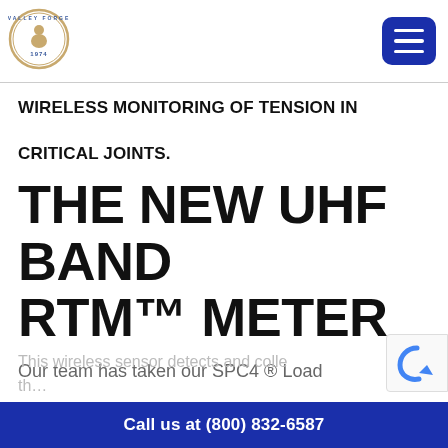[Figure (logo): Valley Forge circular logo with figure and text '1974']
[Figure (other): Blue hamburger menu button icon]
WIRELESS MONITORING OF TENSION IN CRITICAL JOINTS.
THE NEW UHF BAND RTM™ METER
Our team has taken our SPC4 ® Load Indicating Technology to a new level.
Call us at (800) 832-6587